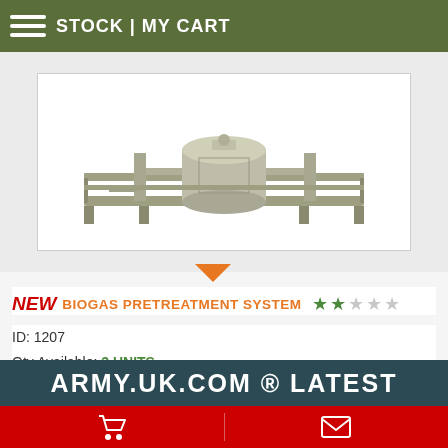STOCK | MY CART
[Figure (photo): Industrial biogas pretreatment system mounted on a metal frame/skid, stainless steel equipment with cylindrical vessel, photographed on white background]
NEW  BIOGAS PRETREATMENT SYSTEM
ID: 1207
Qty Available: 3 UNITS
Manufactured by: HAITAI POWER Biogas Desulphurized System
The price: £P.O.A.
MORE INFO    REQUEST A QUOTE
ARMY.UK.COM ® LATEST